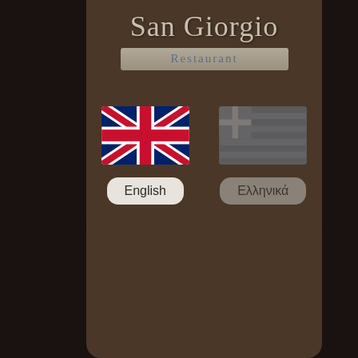San Giorgio
Restaurant
[Figure (screenshot): Language selection screen for San Giorgio Restaurant app with UK flag and English button on the left, Greek flag and Ελληνικά button on the right]